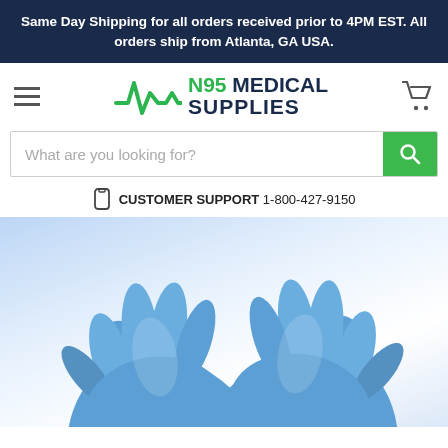Same Day Shipping for all orders received prior to 4PM EST. All orders ship from Atlanta, GA USA.
[Figure (logo): N95 Medical Supplies logo with green heartbeat line graphic and text]
What are you looking for?
CUSTOMER SUPPORT 1-800-427-9150
[Figure (photo): Pair of blue nitrile medical examination gloves worn on hands, crossed over each other on a white background]